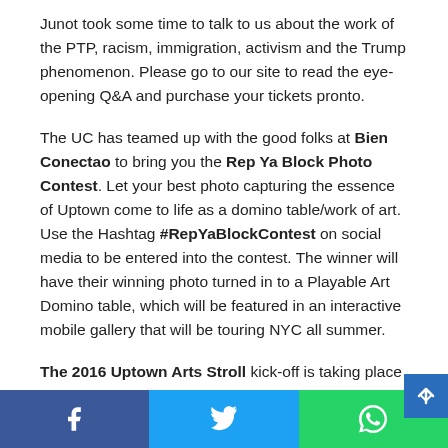Junot took some time to talk to us about the work of the PTP, racism, immigration, activism and the Trump phenomenon. Please go to our site to read the eye-opening Q&A and purchase your tickets pronto.
The UC has teamed up with the good folks at Bien Conectao to bring you the Rep Ya Block Photo Contest. Let your best photo capturing the essence of Uptown come to life as a domino table/work of art. Use the Hashtag #RepYaBlockContest on social media to be entered into the contest. The winner will have their winning photo turned in to a Playable Art Domino table, which will be featured in an interactive mobile gallery that will be touring NYC all summer.
The 2016 Uptown Arts Stroll kick-off is taking place on